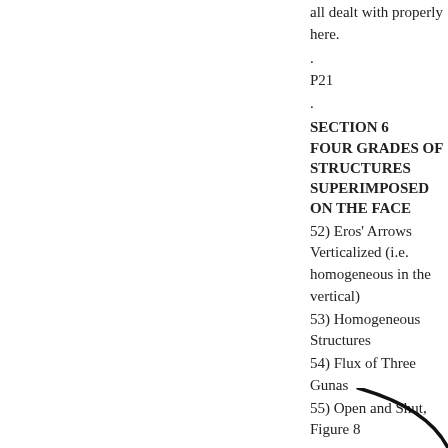all dealt with properly here.
.
P21
.
SECTION 6 FOUR GRADES OF STRUCTURES SUPERIMPOSED ON THE FACE
52) Eros' Arrows Verticalized (i.e. homogeneous in the vertical)
53) Homogeneous Structures
54) Flux of Three Gunas
55) Open and Shut, Figure 8
.
[Figure (illustration): A curved black line/stroke in the bottom-right corner of the page, suggesting a decorative or diagrammatic arc.]